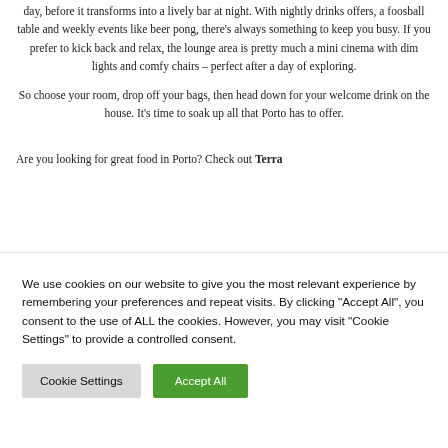day, before it transforms into a lively bar at night. With nightly drinks offers, a foosball table and weekly events like beer pong, there's always something to keep you busy. If you prefer to kick back and relax, the lounge area is pretty much a mini cinema with dim lights and comfy chairs – perfect after a day of exploring.
So choose your room, drop off your bags, then head down for your welcome drink on the house. It's time to soak up all that Porto has to offer.
Are you looking for great food in Porto? Check out Terra
We use cookies on our website to give you the most relevant experience by remembering your preferences and repeat visits. By clicking "Accept All", you consent to the use of ALL the cookies. However, you may visit "Cookie Settings" to provide a controlled consent.